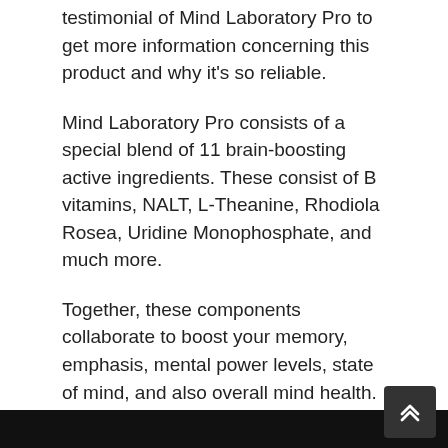testimonial of Mind Laboratory Pro to get more information concerning this product and why it's so reliable.
Mind Laboratory Pro consists of a special blend of 11 brain-boosting active ingredients. These consist of B vitamins, NALT, L-Theanine, Rhodiola Rosea, Uridine Monophosphate, and much more.
Together, these components collaborate to boost your memory, emphasis, mental power levels, state of mind, and also overall mind health. They can even assist secure your brain from age-related cognitive decrease
ONNIT ALPHA BRAIN EVALUATION
[Figure (photo): Black image/photo strip at the bottom of the page]